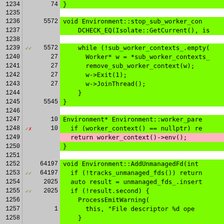[Figure (screenshot): Code coverage viewer showing C++ source lines 1234-1259 with line numbers, hit counts, annotations, and color-coded coverage (green=covered, pink=uncovered, white=not executable). Code includes Environment::stop_sub_worker_contexts, Environment::worker_parent, and Environment::AddUnmanagedFd functions.]